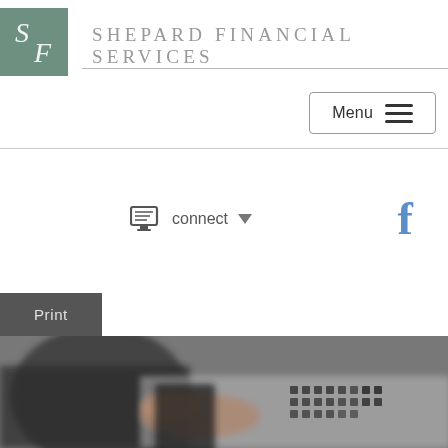[Figure (logo): Shepard Financial Services logo: green/sage square with stylized SF monogram in white italic serif, followed by company name in spaced uppercase serif]
Shepard Financial Services
[Figure (screenshot): Menu button with hamburger icon in top right area]
[Figure (screenshot): Client connect button with monitor icon and dropdown arrow, and Facebook icon to the right]
Print
[Figure (photo): Close-up blurred photo of hands working at a desk with a calculator and documents]